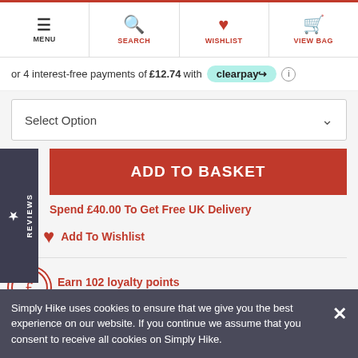MENU | SEARCH | WISHLIST | VIEW BAG
or 4 interest-free payments of £12.74 with clearpay
Select Option
ADD TO BASKET
REVIEWS
Spend £40.00 To Get Free UK Delivery
Add To Wishlist
Earn 102 loyalty points £1.02 equivalent - Find out more
Got A Question?
Simply Hike uses cookies to ensure that we give you the best experience on our website. If you continue we assume that you consent to receive all cookies on Simply Hike.